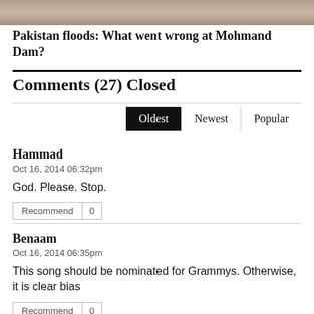[Figure (photo): Partial landscape/flood image strip at top of page]
Pakistan floods: What went wrong at Mohmand Dam?
Comments (27) Closed
Oldest | Newest | Popular
Hammad
Oct 16, 2014 06:32pm
God. Please. Stop.
Recommend 0
Benaam
Oct 16, 2014 06:35pm
This song should be nominated for Grammys. Otherwise, it is clear bias
Recommend 0